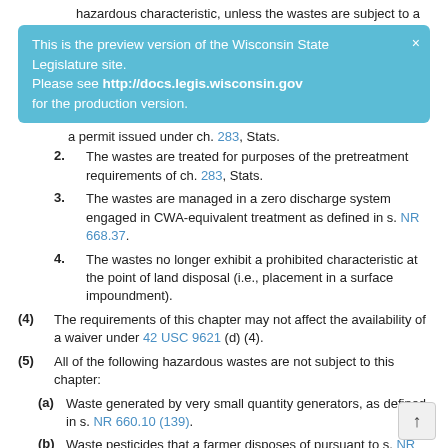hazardous characteristic, unless the wastes are subject to a
[Figure (infographic): Light blue preview banner reading: 'This is the preview version of the Wisconsin State Legislature site. Please see http://docs.legis.wisconsin.gov for the production version.' with an X close button in the top right.]
a permit issued under ch. 283, Stats.
2. The wastes are treated for purposes of the pretreatment requirements of ch. 283, Stats.
3. The wastes are managed in a zero discharge system engaged in CWA-equivalent treatment as defined in s. NR 668.37.
4. The wastes no longer exhibit a prohibited characteristic at the point of land disposal (i.e., placement in a surface impoundment).
(4) The requirements of this chapter may not affect the availability of a waiver under 42 USC 9621 (d) (4).
(5) All of the following hazardous wastes are not subject to this chapter:
(a) Waste generated by very small quantity generators, as defined in s. NR 660.10 (139).
(b) Waste pesticides that a farmer disposes of pursuant to s. NR 662.070.